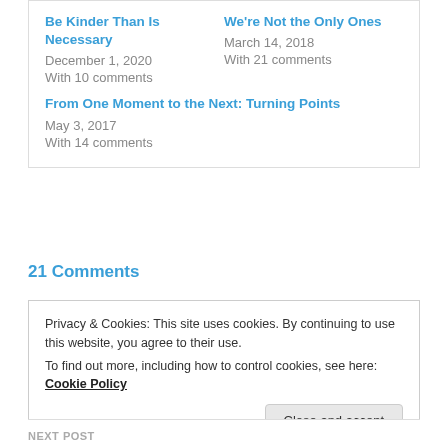Be Kinder Than Is Necessary
December 1, 2020
With 10 comments
We're Not the Only Ones
March 14, 2018
With 21 comments
From One Moment to the Next: Turning Points
May 3, 2017
With 14 comments
21 Comments
Privacy & Cookies: This site uses cookies. By continuing to use this website, you agree to their use.
To find out more, including how to control cookies, see here: Cookie Policy
Close and accept
NEXT POST